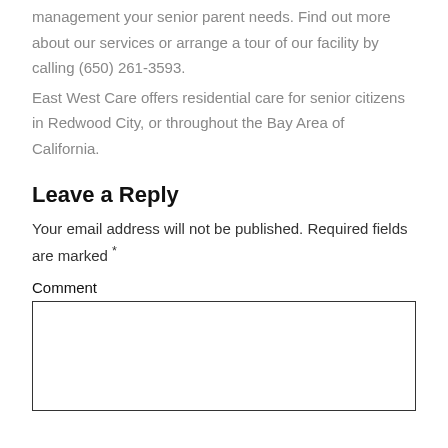management your senior parent needs. Find out more about our services or arrange a tour of our facility by calling (650) 261-3593.
East West Care offers residential care for senior citizens in Redwood City, or throughout the Bay Area of California.
Leave a Reply
Your email address will not be published. Required fields are marked *
Comment